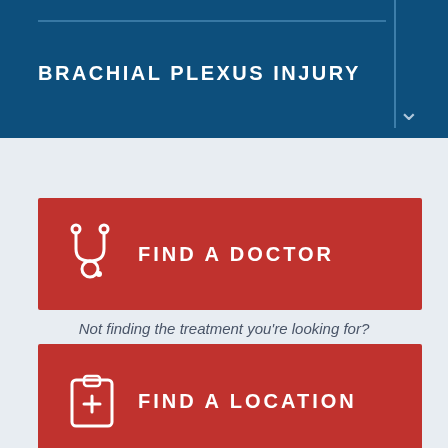BRACHIAL PLEXUS INJURY
[Figure (infographic): Red button with stethoscope icon and text FIND A DOCTOR]
Not finding the treatment you're looking for?
[Figure (infographic): Red button with clipboard/medical icon and text FIND A LOCATION]